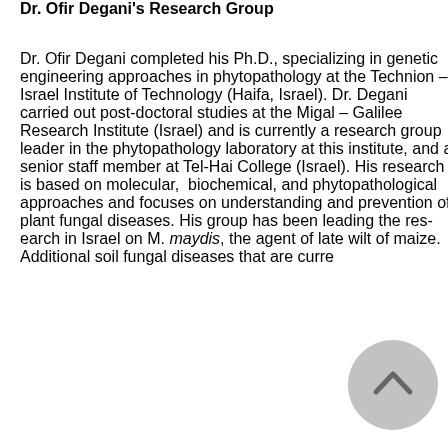Dr. Ofir Degani's Research Group
Dr. Ofir Degani completed his Ph.D., specializing in genetic engineering approaches in phytopathology at the Technion – Israel Institute of Technology (Haifa, Israel). Dr. Degani carried out post-doctoral studies at the Migal – Galilee Research Institute (Israel) and is currently a research group leader in the phytopathology laboratory at this institute, and a senior staff member at Tel-Hai College (Israel). His research is based on molecular, biochemical, and phytopathological approaches and focuses on understanding and prevention of plant fungal diseases. His group has been leading the research in Israel on M. maydis, the agent of late wilt of maize. Additional soil fungal diseases that are curre